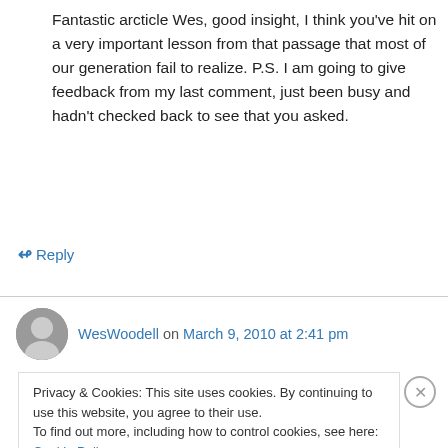Fantastic arcticle Wes, good insight, I think you've hit on a very important lesson from that passage that most of our generation fail to realize. P.S. I am going to give feedback from my last comment, just been busy and hadn't checked back to see that you asked.
↳ Reply
WesWoodell on March 9, 2010 at 2:41 pm
Privacy & Cookies: This site uses cookies. By continuing to use this website, you agree to their use.
To find out more, including how to control cookies, see here: Cookie Policy